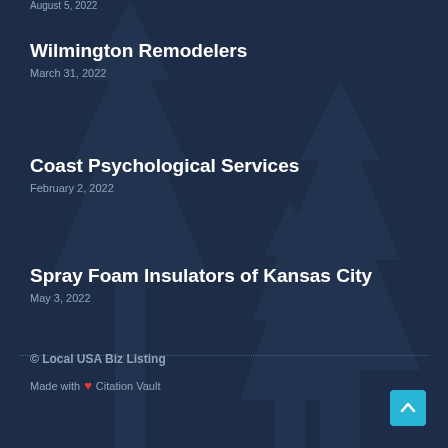August 5, 2022
Wilmington Remodelers
March 31, 2022
Coast Psychological Services
February 2, 2022
Spray Foam Insulators of Kansas City
May 3, 2022
© Local USA Biz Listing
Made with ❤ Citation Vault